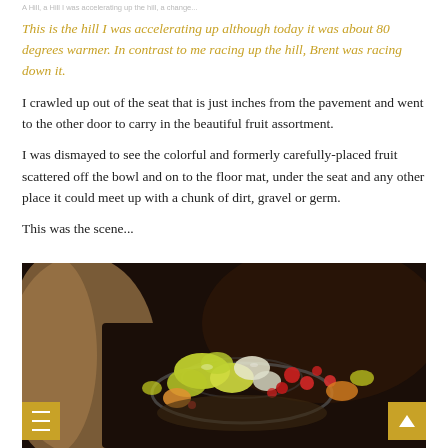...the hill I was accelerating up although today it...
This is the hill I was accelerating up although today it was about 80 degrees warmer. In contrast to me racing up the hill, Brent was racing down it.
I crawled up out of the seat that is just inches from the pavement and went to the other door to carry in the beautiful fruit assortment.
I was dismayed to see the colorful and formerly carefully-placed fruit scattered off the bowl and on to the floor mat, under the seat and any other place it could meet up with a chunk of dirt, gravel or germ.
This was the scene...
[Figure (photo): Dark interior car photo showing scattered fruit including yellow-green melon pieces, red berries, and other fruit pieces on the car floor mat and seat area]